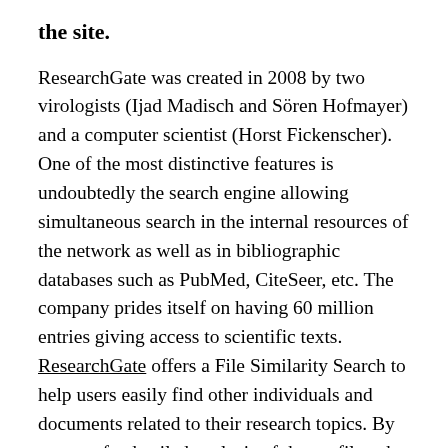the site.
ResearchGate was created in 2008 by two virologists (Ijad Madisch and Sören Hofmayer) and a computer scientist (Horst Fickenscher). One of the most distinctive features is undoubtedly the search engine allowing simultaneous search in the internal resources of the network as well as in bibliographic databases such as PubMed, CiteSeer, etc. The company prides itself on having 60 million entries giving access to scientific texts. ResearchGate offers a File Similarity Search to help users easily find other individuals and documents related to their research topics. By means of a detailed analysis of the profiles, the site is able to offer its users the opportunity to exchange views with their significant...